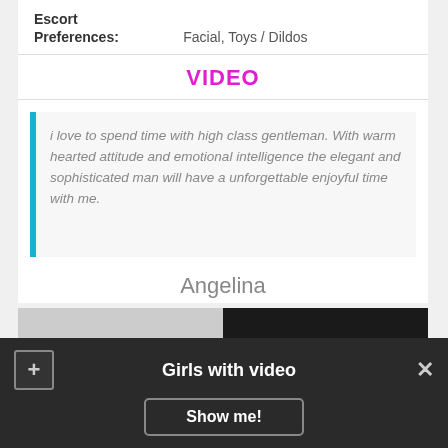| Escort Preferences: | Facial, Toys / Dildos |
VIDEO
i love to spend time with high class gentleman. With warm hearted attitude and emotional intelligence the elegant and sophisticated man will have a unforgettable enjoyful time with me.
Angelina
[Figure (photo): Photo strip showing two images side by side, left portion lighter, right portion dark]
Girls with video
Show me!